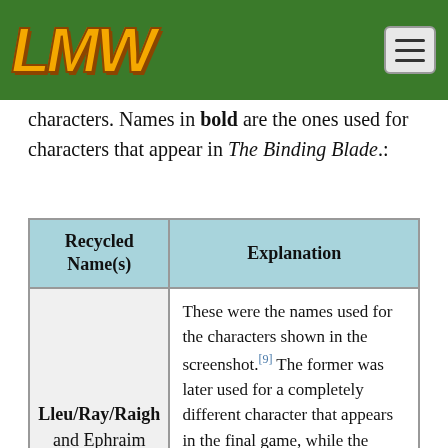LMW (logo) with green header bar and menu button
characters. Names in bold are the ones used for characters that appear in The Binding Blade.:
| Recycled Name(s) | Explanation |
| --- | --- |
| Lleu/Ray/Raigh and Ephraim | These were the names used for the characters shown in the screenshot.[9] The former was later used for a completely different character that appears in the final game, while the latter was later recycled as the name for one of the main protagonists of Fire Emblem: The Sacred Stones. |